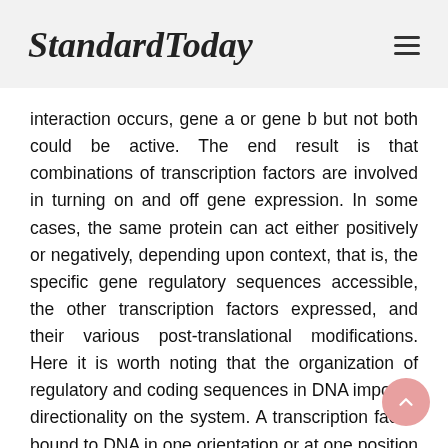StandardToday
interaction occurs, gene a or gene b but not both could be active. The end result is that combinations of transcription factors are involved in turning on and off gene expression. In some cases, the same protein can act either positively or negatively, depending upon context, that is, the specific gene regulatory sequences accessible, the other transcription factors expressed, and their various post-translational modifications. Here it is worth noting that the organization of regulatory and coding sequences in DNA imposes directionality on the system. A transcription factor bound to DNA in one orientation or at one position may block the binding of other proteins (or RNA